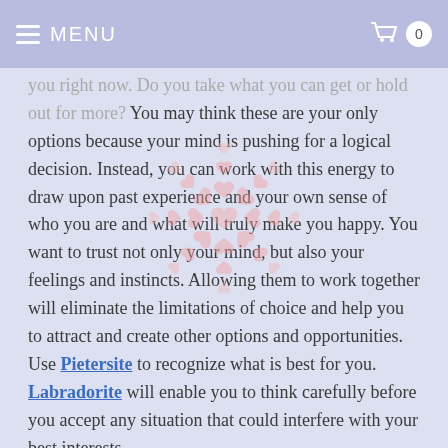MENU  0
you right now.  Do you take what you can get or hold out for more?  You may think these are your only options because your mind is pushing for a logical decision.  Instead, you can work with this energy to draw upon past experience and your own sense of who you are and what will truly make you happy.  You want to trust not only your mind, but also your feelings and instincts.  Allowing them to work together will eliminate the limitations of choice and help you to attract and create other options and opportunities.  Use Pietersite to recognize what is best for you. Labradorite will enable you to think carefully before you accept any situation that could interfere with your best interests.
[Figure (illustration): Decorative watermark of hearts arranged in a circular snowflake-like pattern, light pink/salmon color]
Number of the day: 3
It has a list of what to do...